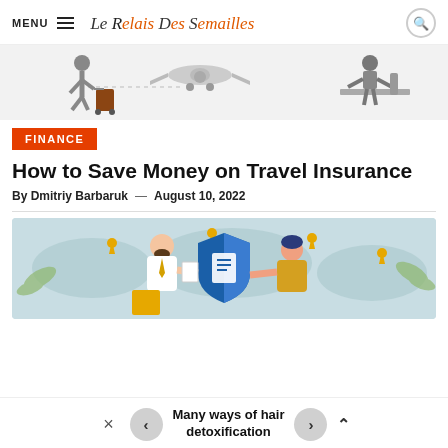MENU | Le Relais Des Semailles
[Figure (illustration): Travel themed illustration showing a silhouette person pulling luggage, an airplane, and a person seated at a desk, on a light grey background]
FINANCE
How to Save Money on Travel Insurance
By Dmitriy Barbaruk — August 10, 2022
[Figure (illustration): Illustration of two people shaking hands over a travel insurance document, with a blue shield logo in the center and a world map with location pins in the background]
Many ways of hair detoxification